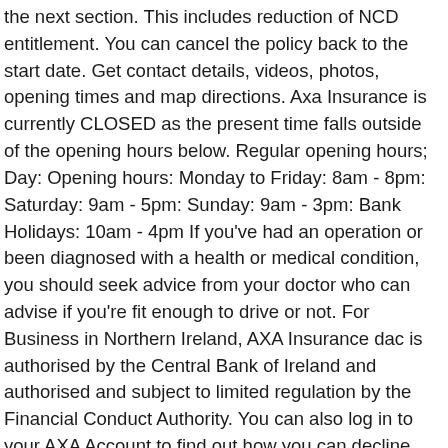the next section. This includes reduction of NCD entitlement. You can cancel the policy back to the start date. Get contact details, videos, photos, opening times and map directions. Axa Insurance is currently CLOSED as the present time falls outside of the opening hours below. Regular opening hours; Day: Opening hours: Monday to Friday: 8am - 8pm: Saturday: 9am - 5pm: Sunday: 9am - 3pm: Bank Holidays: 10am - 4pm If you've had an operation or been diagnosed with a health or medical condition, you should seek advice from your doctor who can advise if you're fit enough to drive or not. For Business in Northern Ireland, AXA Insurance dac is authorised by the Central Bank of Ireland and authorised and subject to limited regulation by the Financial Conduct Authority. You can also log in to your AXA Account to find out how you can decline your renewal. It's helpful to have your policy number handy when you call. If you need to talk to our team about windscreen repairs, please call us on: For repairs and replacements for chipped, cracked or broken glass, please book online with Autoglass by